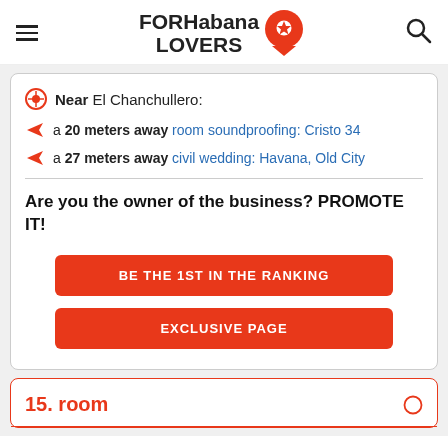FORHabana LOVERS
Near El Chanchullero:
a 20 meters away room soundproofing: Cristo 34
a 27 meters away civil wedding: Havana, Old City
Are you the owner of the business? PROMOTE IT!
BE THE 1ST IN THE RANKING
EXCLUSIVE PAGE
15. room